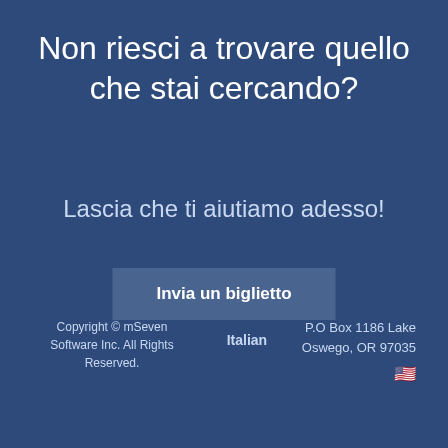Non riesci a trovare quello che stai cercando?
Lascia che ti aiutiamo adesso!
Invia un biglietto
Copyright © mSeven Software Inc. All Rights Reserved.    Italian    P.O Box 1186 Lake Oswego, OR 97035